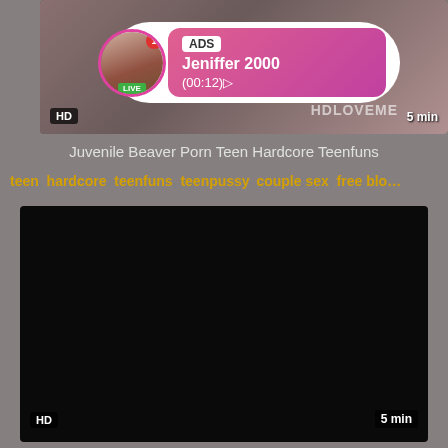[Figure (screenshot): Video thumbnail showing adult content with HD badge, 5 min duration, HDLOVEME watermark, and an ad overlay showing Jeniffer 2000 live stream notification]
Juvenile Beaver Porn Teen Hardcore Teenfuns
teen, hardcore, teenfuns, teenpussy, couple sex, free blo...
[Figure (screenshot): Black video player with HD badge bottom-left and 5 min duration bottom-right]